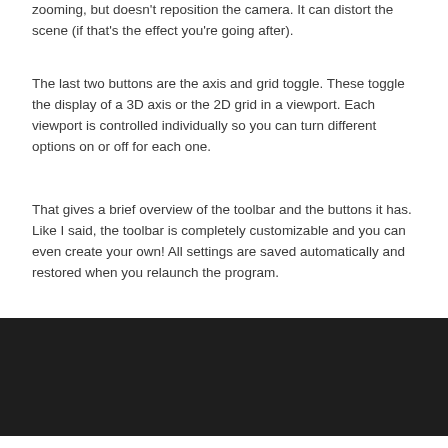zooming, but doesn't reposition the camera. It can distort the scene (if that's the effect you're going after).
The last two buttons are the axis and grid toggle. These toggle the display of a 3D axis or the 2D grid in a viewport. Each viewport is controlled individually so you can turn different options on or off for each one.
That gives a brief overview of the toolbar and the buttons it has. Like I said, the toolbar is completely customizable and you can even create your own! All settings are saved automatically and restored when you relaunch the program.
[Figure (other): Dark background area at the bottom of the page, representing a dark UI panel or viewport section]